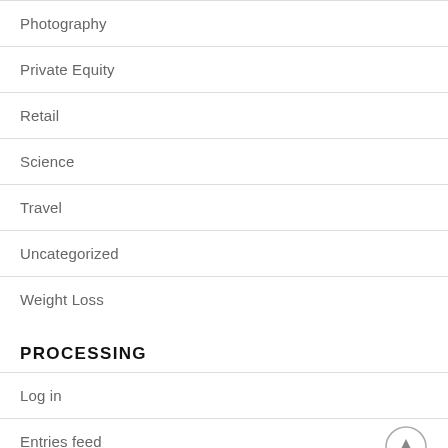Photography
Private Equity
Retail
Science
Travel
Uncategorized
Weight Loss
PROCESSING
Log in
Entries feed
Comments feed